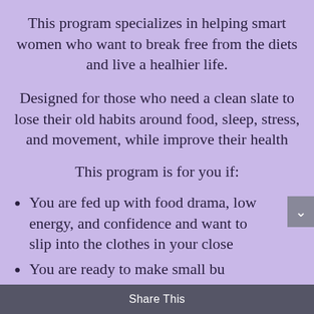This program specializes in helping smart women who want to break free from the diets and live a healhier life.
Designed for those who need a clean slate to lose their old habits around food, sleep, stress, and movement, while improve their health
This program is for you if:
You are fed up with food drama, low energy, and confidence and want to slip into the clothes in your close
You are ready to make small bu
Share This